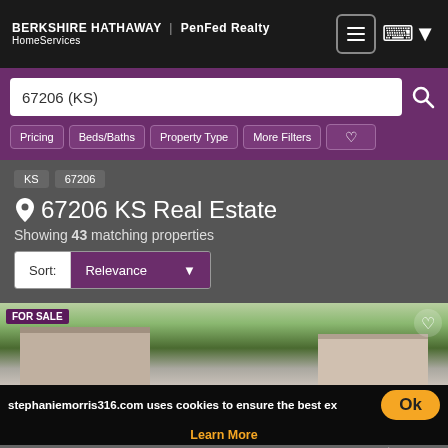BERKSHIRE HATHAWAY | PenFed Realty HomeServices
67206 (KS)
Pricing
Beds/Baths
Property Type
More Filters
KS  67206
67206 KS Real Estate
Showing 43 matching properties
Sort: Relevance
[Figure (photo): Exterior photo of a suburban home for sale, FOR SALE badge in top-left corner]
stephaniemorris316.com uses cookies to ensure the best ex
Learn More
Privacy - Terms